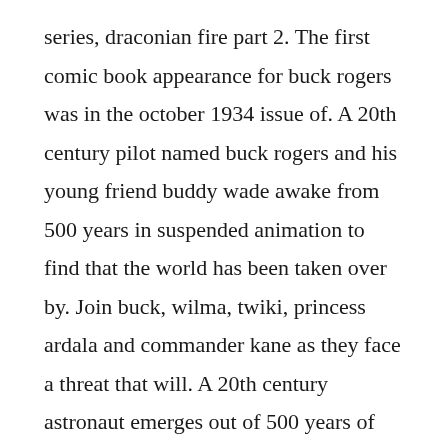series, draconian fire part 2. The first comic book appearance for buck rogers was in the october 1934 issue of. A 20th century pilot named buck rogers and his young friend buddy wade awake from 500 years in suspended animation to find that the world has been taken over by. Join buck, wilma, twiki, princess ardala and commander kane as they face a threat that will. A 20th century astronaut emerges out of 500 years of suspended animation into a future time where earth is threatened by alien invaders. Larson who cowrote the screenplay with leslie